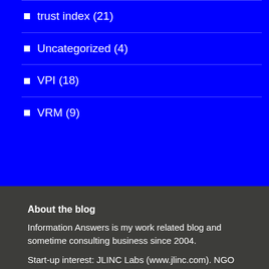trust index (21)
Uncategorized (4)
VPI (18)
VRM (9)
About the blog
Information Answers is my work related blog and sometime consulting business since 2004.
Start-up interest: JLINC Labs (www.jlinc.com). NGO interest: Customer Commons. Hobby interest: MyData Global, MyData